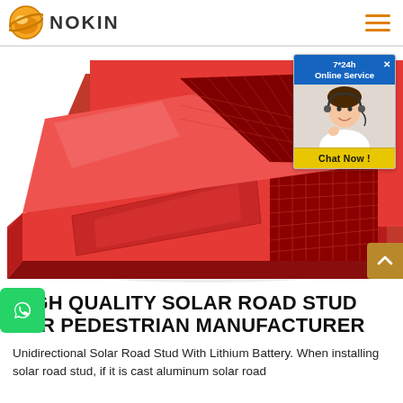NOKIN
[Figure (photo): Red solar road stud product photo showing a red plastic/aluminum road stud with reflective panel, viewed from angle above]
[Figure (photo): Online chat widget showing '7*24h Online Service' header with a customer service representative photo and 'Chat Now!' button]
HIGH QUALITY SOLAR ROAD STUD FOR PEDESTRIAN MANUFACTURER
Unidirectional Solar Road Stud With Lithium Battery. When installing solar road stud, if it is cast aluminum solar road